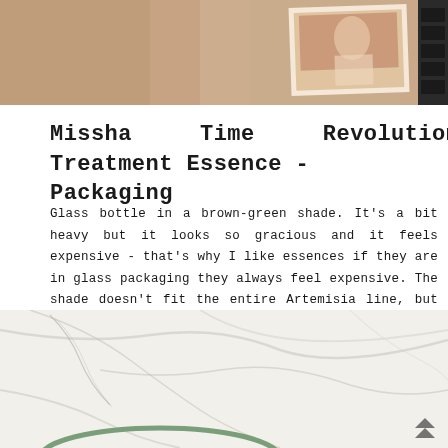[Figure (photo): Top portion of a blog page showing a cropped photo of a woman or magazine lying on a surface with beige/brown tones and a dark film strip on the right edge]
Missha Time Revolution Artemisia Treatment Essence - Packaging
Glass bottle in a brown-green shade. It's a bit heavy but it looks so gracious and it feels expensive - that's why I like essences if they are in glass packaging they always feel expensive. The shade doesn't fit the entire Artemisia line, but somehow after I tried Hanyul, I do not feel so optimistic about the shape of the packaging.
[Figure (photo): Bottom portion showing a white marble surface with grey veins and the top rim of a glass bottle with a greenish tint visible at the bottom of the frame. A small double-chevron scroll-up icon appears in the bottom right corner.]